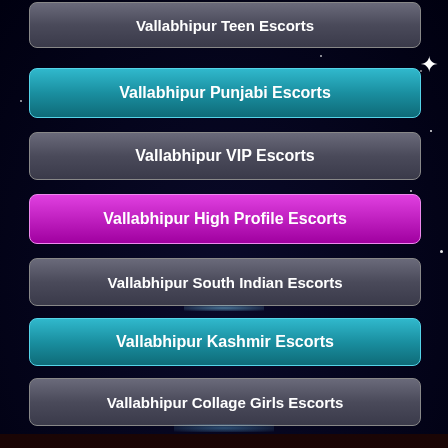Vallabhipur Teen Escorts
Vallabhipur Punjabi Escorts
Vallabhipur VIP Escorts
Vallabhipur High Profile Escorts
Vallabhipur South Indian Escorts
Vallabhipur Kashmir Escorts
Vallabhipur Collage Girls Escorts
Welcome to Vallabhipur Escort Service by Miss Denizli
We Offer Genuine and High Profile Girls Top Class Models
Call Now
Whatsup